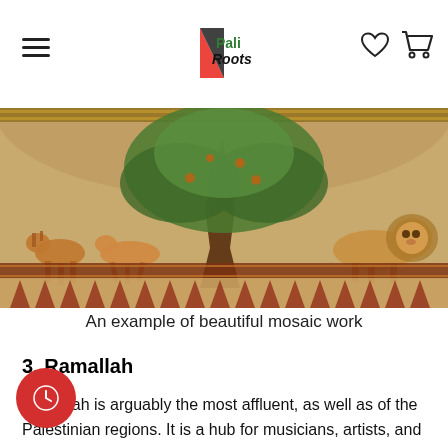Pali Roots [logo with navigation icons]
[Figure (photo): A semicircular mosaic artwork depicting a large tree in the center with deer and a lion on either side, surrounded by ornate decorative borders. The mosaic has warm golden and brown tones with green foliage.]
An example of beautiful mosaic work
3. Ramallah
Ramallah is arguably the most affluent, as well as of the Palestinian regions. It is a hub for musicians, artists, and is an intriguing urban center